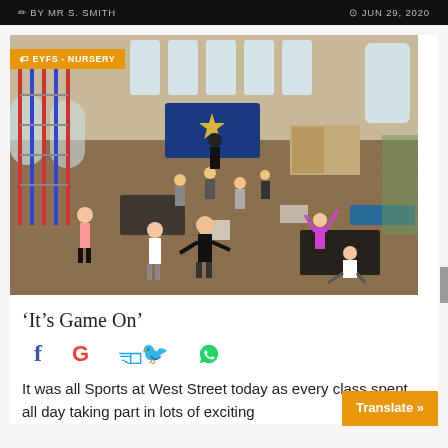BY MR S. SMITH   JUN 29, 2020
[Figure (photo): School sports hall with children doing physical activity exercises on a wooden parquet floor. Climbing frames visible on the left, large windows at the back, a blue display board in the background.]
'It's Game On'
It was all Sports at West Street today as every class spent all day taking part in lots of exciting
Translate »